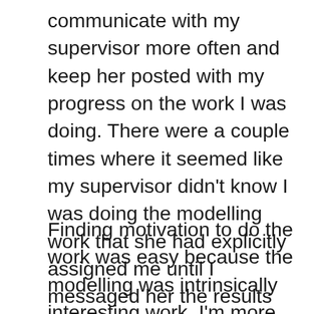communicate with my supervisor more often and keep her posted with my progress on the work I was doing. There were a couple times where it seemed like my supervisor didn't know I was doing the modelling work that she had explicitly assigned me until I messaged her the results over Slack.
Finding motivation to do the work was easy because the modelling was intrinsically interesting work. I'm more interested in front end work but I think it's good to be aware of some machine learning techniques so I can recognize problems that could be